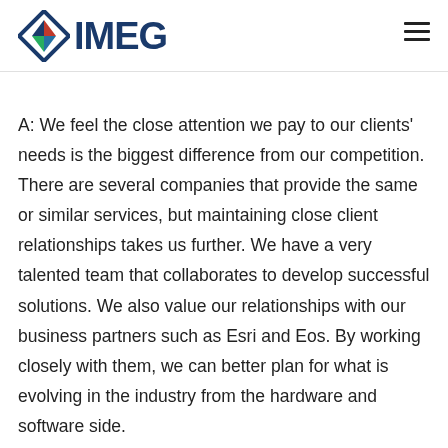IMEG
A: We feel the close attention we pay to our clients' needs is the biggest difference from our competition. There are several companies that provide the same or similar services, but maintaining close client relationships takes us further. We have a very talented team that collaborates to develop successful solutions. We also value our relationships with our business partners such as Esri and Eos. By working closely with them, we can better plan for what is evolving in the industry from the hardware and software side.